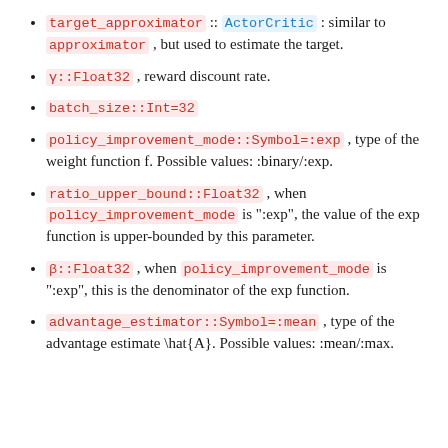target_approximator :: ActorCritic : similar to approximator , but used to estimate the target.
γ::Float32 , reward discount rate.
batch_size::Int=32
policy_improvement_mode::Symbol=:exp , type of the weight function f. Possible values: :binary/:exp.
ratio_upper_bound::Float32 , when policy_improvement_mode is ":exp", the value of the exp function is upper-bounded by this parameter.
β::Float32 , when policy_improvement_mode is ":exp", this is the denominator of the exp function.
advantage_estimator::Symbol=:mean , type of the advantage estimate \hat{A}. Possible values: :mean/:max.